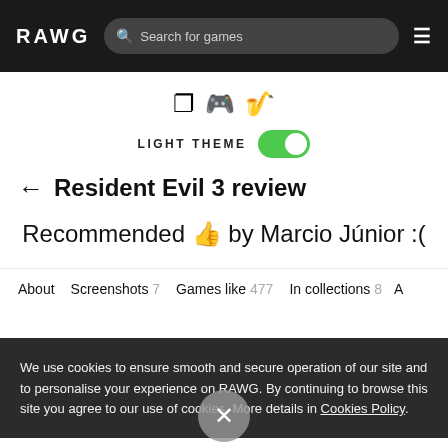RAWG | Search for games | ☰
[Figure (infographic): Platform icons: Windows, PlayStation, Xbox]
LIGHT THEME [toggle on]
Resident Evil 3 review
Recommended 👍 by Marcio Júnior :(
About | Screenshots 7 | Games like 477 | In collections 8 | A
We use cookies to ensure smooth and secure operation of our site and to personalise your experience on RAWG. By continuing to browse this site you agree to our use of cookies. More details in Cookies Policy.
Resident Evil 3 is the game from the famous CAPCOM survival horror franchise and pays attention: it is a remake inspired by Resident Evil 3: NEMESIS, a PlayStation classic released in 1999, following the same line as the previous